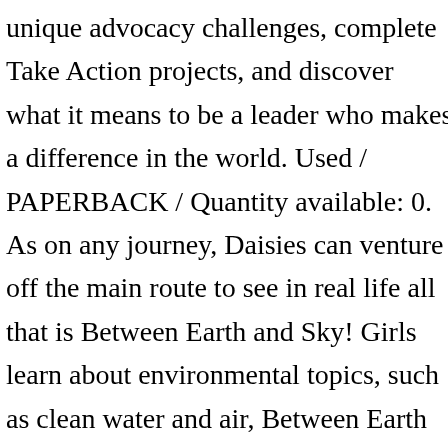unique advocacy challenges, complete Take Action projects, and discover what it means to be a leader who makes a difference in the world. Used / PAPERBACK / Quantity available: 0. As on any journey, Daisies can venture off the main route to see in real life all that is Between Earth and Sky! Girls learn about environmental topics, such as clean water and air, Between Earth and Sky - Firefly Award. BETWEEN EARTH AND SKY DAISY JOURNEY AWARD. Are you sure you want to remove Between Earth and Sky - Girl